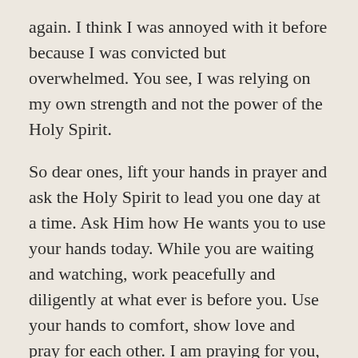again. I think I was annoyed with it before because I was convicted but overwhelmed. You see, I was relying on my own strength and not the power of the Holy Spirit.
So dear ones, lift your hands in prayer and ask the Holy Spirit to lead you one day at a time. Ask Him how He wants you to use your hands today. While you are waiting and watching, work peacefully and diligently at what ever is before you. Use your hands to comfort, show love and pray for each other. I am praying for you, please pray for me in this challenge.
Be well!
Patricia